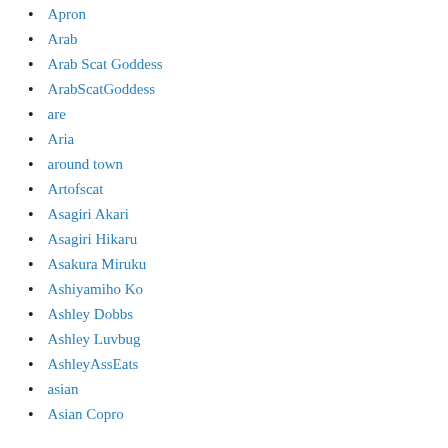Apron
Arab
Arab Scat Goddess
ArabScatGoddess
are
Aria
around town
Artofscat
Asagiri Akari
Asagiri Hikaru
Asakura Miruku
Ashiyamiho Ko
Ashley Dobbs
Ashley Luvbug
AshleyAssEats
asian
Asian Copro